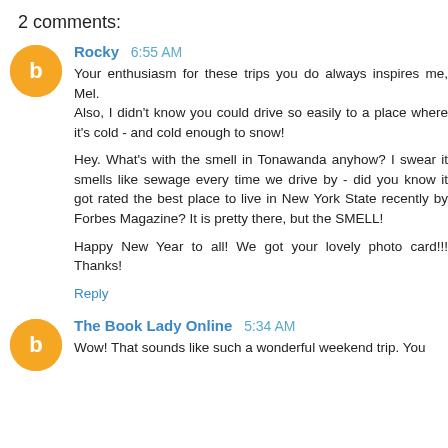2 comments:
Rocky 6:55 AM
Your enthusiasm for these trips you do always inspires me, Mel.
Also, I didn't know you could drive so easily to a place where it's cold - and cold enough to snow!

Hey. What's with the smell in Tonawanda anyhow? I swear it smells like sewage every time we drive by - did you know it got rated the best place to live in New York State recently by Forbes Magazine? It is pretty there, but the SMELL!

Happy New Year to all! We got your lovely photo card!!! Thanks!
Reply
The Book Lady Online 5:34 AM
Wow! That sounds like such a wonderful weekend trip. You